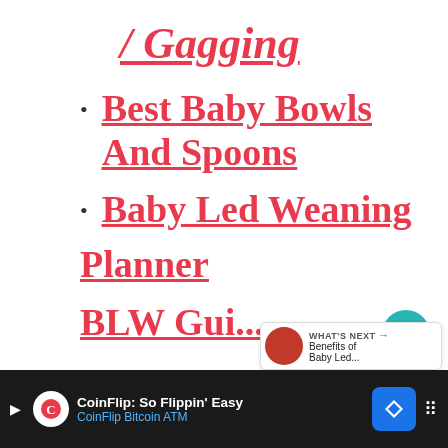/ Gagging
Best Baby Bowls And Spoons
Baby Led Weaning Planner
BLW Gui...
[Figure (screenshot): UI overlay with heart and share buttons, and a 'WHAT'S NEXT' card showing 'Benefits of Baby Led...']
CoinFlip: So Flippin' Easy CoinFlip Bitcoin ATM